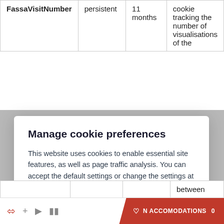| Name | Type | Duration | Description |
| --- | --- | --- | --- |
| FassaVisitNumber | persistent | 11 months | cookie tracking the number of visualisations of the |
Manage cookie preferences
This website uses cookies to enable essential site features, as well as page traffic analysis. You can accept the default settings or change the settings at any time. You can close this banner to continue with essential cookies only.
Cookie settings
Accept all
Reject
|  |  |  | between |
N ACCOMODATIONS 0